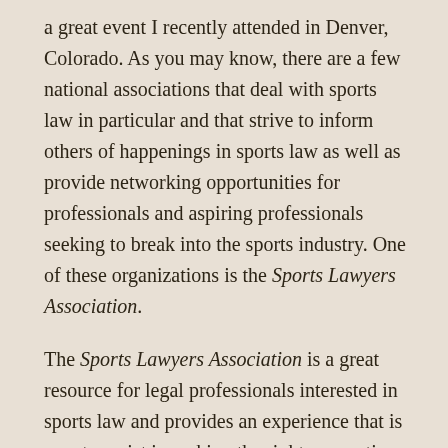a great event I recently attended in Denver, Colorado. As you may know, there are a few national associations that deal with sports law in particular and that strive to inform others of happenings in sports law as well as provide networking opportunities for professionals and aspiring professionals seeking to break into the sports industry. One of these organizations is the Sports Lawyers Association.
The Sports Lawyers Association is a great resource for legal professionals interested in sports law and provides an experience that is sure to assist in making the right connections which can lead to numerous opportunities.
Not only is the professional networking unlike any other events I have had the opportunity to attend,